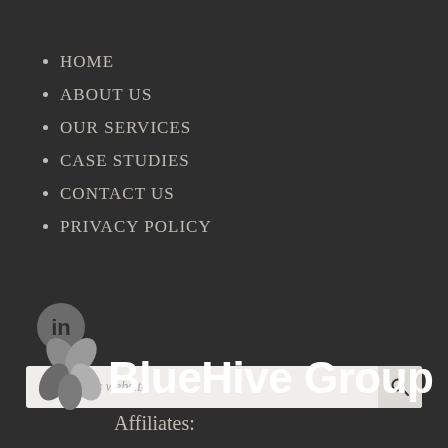HOME
ABOUT US
OUR SERVICES
CASE STUDIES
CONTACT US
PRIVACY POLICY
[Figure (logo): LinkedIn icon — circular grey badge with 'in' text]
[Figure (screenshot): Search bar with placeholder text 'Search this website' and a search icon button on the right]
[Figure (logo): BlueHive Group logo — grey flower/leaf icon on the left, bold white 'BlueHive Group' text on the right]
Affiliates: